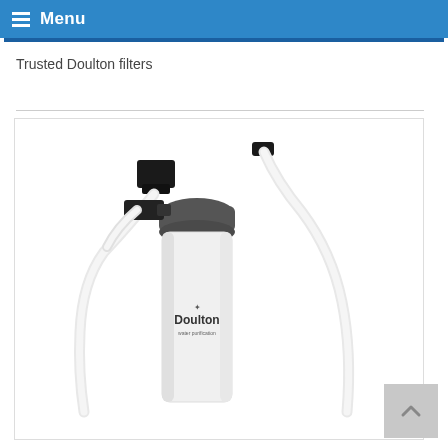Menu
Trusted Doulton filters
[Figure (photo): A Doulton water filter unit mounted on a wall bracket with white tubing/hoses connected to the top and sides. The white cylindrical filter housing bears the Doulton brand name and logo.]